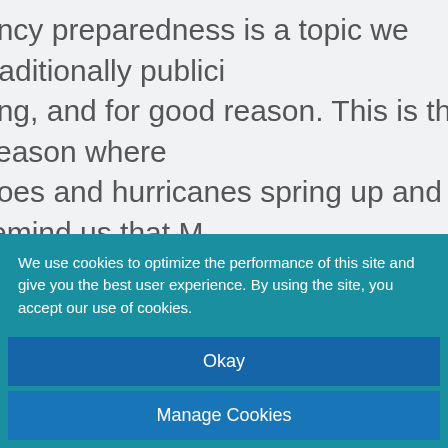ency preparedness is a topic we traditionally publici ring, and for good reason. This is the season where does and hurricanes spring up and remind us that M e loves to flex her strength now and then. ver, this last winter in the mid-west has shown us bei red for emergencies at any time of the year is critica on to the aforementioned hazards, we often face thr ghout the year from wildfires, flash flooding, blizzar quakes, and associated power outages.
We use cookies to optimize the performance of this site and give you the best user experience. By using the site, you accept our use of cookies.
Okay
Manage Cookies